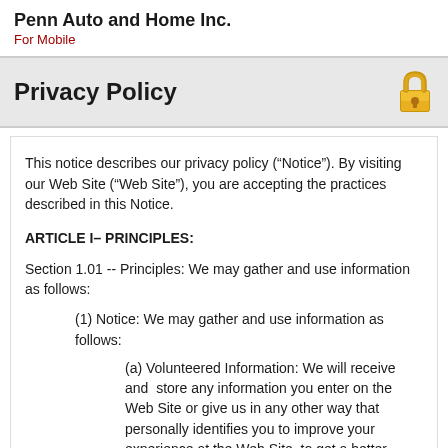Penn Auto and Home Inc.
For Mobile
Privacy Policy
This notice describes our privacy policy (“Notice”). By visiting our Web Site (“Web Site”), you are accepting the practices described in this Notice.
ARTICLE I– PRINCIPLES:
Section 1.01 -- Principles: We may gather and use information as follows:
(1) Notice: We may gather and use information as follows:
(a) Volunteered Information: We will receive and  store any information you enter on the Web Site or give us in any other way that personally identifies you to improve your experience at the Web Site, to get a better general understanding of the type of individuals visiting the Web Site, and to enable us to contact you when needed.  Typically you will provide information on the Web Site for the